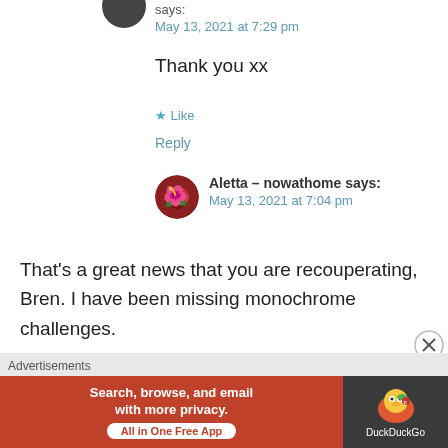says:
May 13, 2021 at 7:29 pm
Thank you xx
★ Like
Reply
Aletta – nowathome says:
May 13, 2021 at 7:04 pm
That's a great news that you are recouperating, Bren. I have been missing monochrome challenges.
★ Liked by 1 person
Advertisements
[Figure (screenshot): DuckDuckGo advertisement banner: 'Search, browse, and email with more privacy. All in One Free App' on red background with DuckDuckGo logo on dark background]